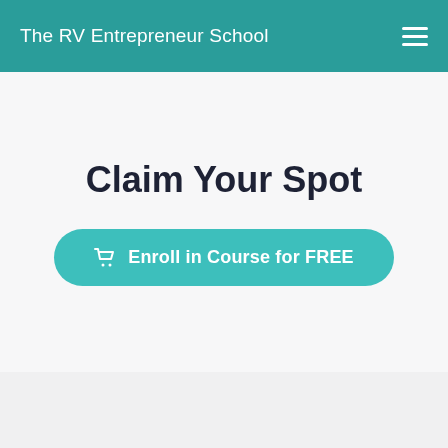The RV Entrepreneur School
Claim Your Spot
Enroll in Course for FREE